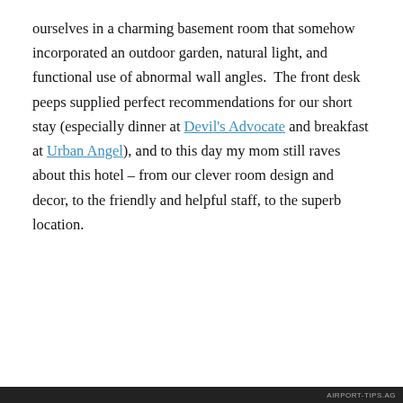ourselves in a charming basement room that somehow incorporated an outdoor garden, natural light, and functional use of abnormal wall angles.  The front desk peeps supplied perfect recommendations for our short stay (especially dinner at Devil's Advocate and breakfast at Urban Angel), and to this day my mom still raves about this hotel – from our clever room design and decor, to the friendly and helpful staff, to the superb location.
Privacy & Cookies: This site uses cookies. By continuing to use this website, you agree to their use.
To find out more, including how to control cookies, see here: Cookie Policy
Close and accept
AIRPORT-TIPS.AG